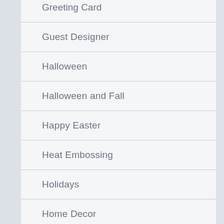Greeting Card
Guest Designer
Halloween
Halloween and Fall
Happy Easter
Heat Embossing
Holidays
Home Decor
Hot Foiling
Hot Foiling